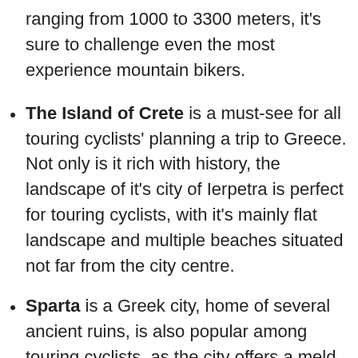ranging from 1000 to 3300 meters, it’s sure to challenge even the most experience mountain bikers.
The Island of Crete is a must-see for all touring cyclists’ planning a trip to Greece. Not only is it rich with history, the landscape of it’s city of Ierpetra is perfect for touring cyclists, with it’s mainly flat landscape and multiple beaches situated not far from the city centre.
Sparta is a Greek city, home of several ancient ruins, is also popular among touring cyclists, as the city offers a meld between urbanism and urban cycling, and the Greek countryside, where flowering meadows are dotted throughout the